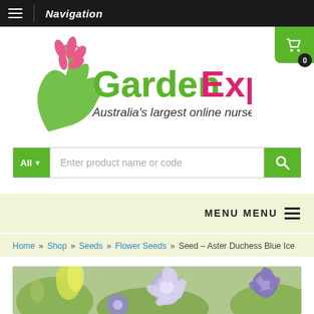Navigation
[Figure (logo): GardenExpress logo — Australia's largest online nursery]
Enter product name or code
MENU MENU
Home » Shop » Seeds » Flower Seeds » Seed – Aster Duchess Blue Ice
[Figure (photo): Close-up photo of blue, purple and white Aster Duchess Blue Ice flowers with green leaves]